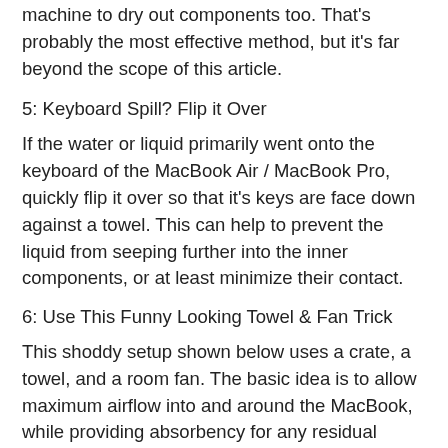machine to dry out components too. That's probably the most effective method, but it's far beyond the scope of this article.
5: Keyboard Spill? Flip it Over
If the water or liquid primarily went onto the keyboard of the MacBook Air / MacBook Pro, quickly flip it over so that it's keys are face down against a towel. This can help to prevent the liquid from seeping further into the inner components, or at least minimize their contact.
6: Use This Funny Looking Towel & Fan Trick
This shoddy setup shown below uses a crate, a towel, and a room fan. The basic idea is to allow maximum airflow into and around the MacBook, while providing absorbency for any residual water. Do this in a low humidity environment if possible.